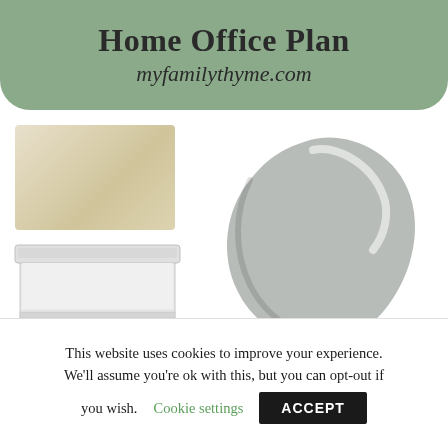Home Office Plan
myfamilythyme.com
[Figure (illustration): Light beige/cream textured paper or fabric swatch]
[Figure (illustration): White bookcase with small green plants and books on shelves]
[Figure (illustration): Large gray paint drop blob, medium gray color]
This website uses cookies to improve your experience. We'll assume you're ok with this, but you can opt-out if you wish.
Cookie settings
ACCEPT